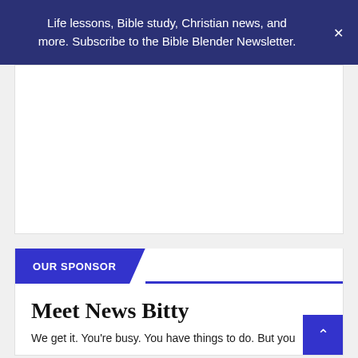Life lessons, Bible study, Christian news, and more. Subscribe to the Bible Blender Newsletter.
[Figure (other): White advertisement placeholder area]
OUR SPONSOR
Meet News Bitty
We get it. You're busy. You have things to do. But you